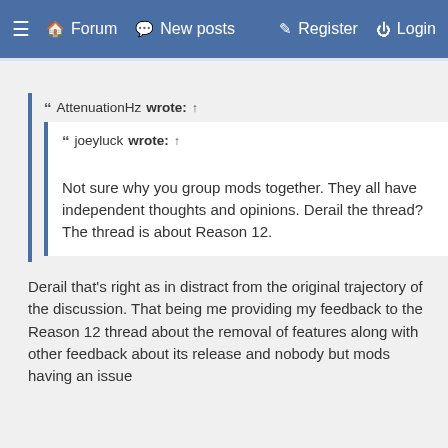≡  Forum  New posts  Register  Login
AttenuationHz wrote: ↑
joeyluck wrote: ↑
Not sure why you group mods together. They all have independent thoughts and opinions. Derail the thread? The thread is about Reason 12.
Derail that's right as in distract from the original trajectory of the discussion. That being me providing my feedback to the Reason 12 thread about the removal of features along with other feedback about its release and nobody but mods having an issue